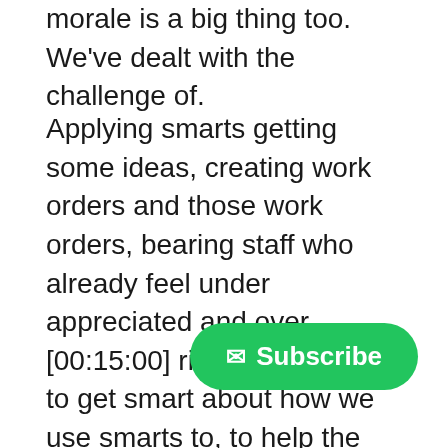morale is a big thing too. We've dealt with the challenge of.
Applying smarts getting some ideas, creating work orders and those work orders, bearing staff who already feel under appreciated and over, [00:15:00] right. So we have to get smart about how we use smarts to, to help the operation of maintenance side, to the extent now that I think this is, this is a sign of the times, you know, everybody thinks about energy now, and if you can operate and maintain your buildings properly, you're going to get the energy savings for free.
So how do we really get folks paying attention to the ONM? Make sure that those folks know, this is a university program, this is a university opportunity. It's not just Lincoln. It's not just Jerry